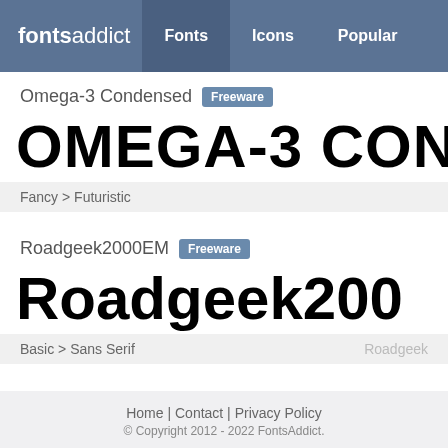fontsaddict  Fonts  Icons  Popular
Omega-3 Condensed  Freeware
[Figure (other): Font preview of Omega-3 Condensed showing 'OMEGA-3 CON' in large black blocky condensed style letters]
Fancy > Futuristic
Roadgeek2000EM  Freeware
[Figure (other): Font preview of Roadgeek2000EM showing 'Roadgeek200' in large bold sans-serif letters]
Basic > Sans Serif     Roadgeek
Home | Contact | Privacy Policy
© Copyright 2012 - 2022 FontsAddict.